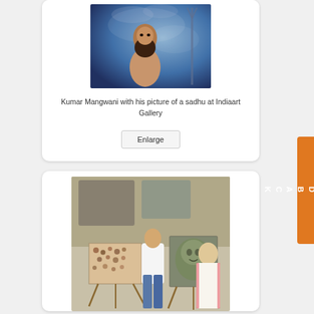[Figure (photo): Photo of Kumar Mangwani, a sadhu figure against a blue background]
Kumar Mangwani with his picture of a sadhu at Indiaart Gallery
Enlarge
[Figure (photo): Two people standing with photographs on easels at an art gallery — a man in white shirt and jeans and a woman in white saree]